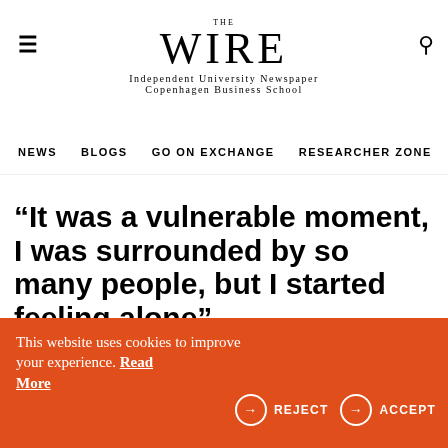THE WIRE — Independent University Newspaper Copenhagen Business School
NEWS  BLOGS  GO ON EXCHANGE  RESEARCHER ZONE  PODCAST
“It was a vulnerable moment, I was surrounded by so many people, but I started feeling alone”
[Figure (illustration): Decorative wave graphic with navy blue and white shapes]
This website uses cookies to improve your experience. Read More  → REJECT  → ACCEPT